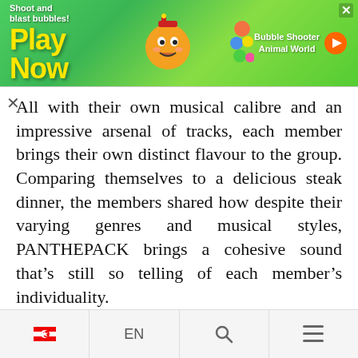[Figure (screenshot): Mobile game advertisement banner with green background showing 'Play Now' text in yellow, game mascot character, and 'Bubble Shooter Animal World' text on the right side]
All with their own musical calibre and an impressive arsenal of tracks, each member brings their own distinct flavour to the group. Comparing themselves to a delicious steak dinner, the members shared how despite their varying genres and musical styles, PANTHEPACK brings a cohesive sound that's still so telling of each member's individuality.
🇸🇬  EN  🔍  ☰